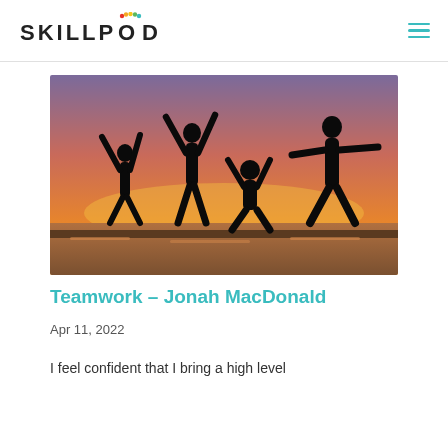SKILLPOD
[Figure (photo): Silhouette of four people jumping joyfully against a vibrant sunset sky with orange and purple hues near a body of water.]
Teamwork – Jonah MacDonald
Apr 11, 2022
I feel confident that I bring a high level